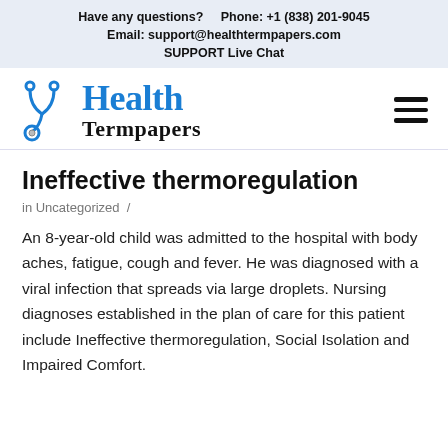Have any questions?    Phone: +1 (838) 201-9045
Email: support@healthtermpapers.com
SUPPORT Live Chat
[Figure (logo): Health Termpapers logo with stethoscope icon and blue 'Health' text above black 'Termpapers' text]
Ineffective thermoregulation
in Uncategorized  /
An 8-year-old child was admitted to the hospital with body aches, fatigue, cough and fever. He was diagnosed with a viral infection that spreads via large droplets. Nursing diagnoses established in the plan of care for this patient include Ineffective thermoregulation, Social Isolation and Impaired Comfort.